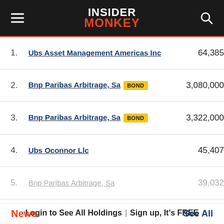INSIDER MONKEY
| # | Name | Value |
| --- | --- | --- |
| 1. | Ubs Asset Management Americas Inc | 64,385 |
| 2. | Bnp Paribas Arbitrage, Sa [BOND] | 3,080,000 |
| 3. | Bnp Paribas Arbitrage, Sa [BOND] | 3,322,000 |
| 4. | Ubs Oconnor Llc | 45,407 |
| 5. | Bnp Paribas Arbitrage, Sa | 39,032 |
Login to See All Holdings | Sign up, It's FREE
News   See All